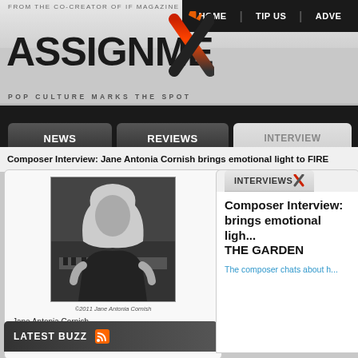FROM THE CO-CREATOR OF IF MAGAZINE
HOME | TIP US | ADVE...
[Figure (logo): AssignmentX logo with stylized X mark in black with orange/red flame accent]
POP CULTURE MARKS THE SPOT
NEWS | REVIEWS | INTERVIEWS
Composer Interview: Jane Antonia Cornish brings emotional light to FIRE... (THE GARDEN)
[Figure (photo): Black and white photo of Jane Antonia Cornish seated at a keyboard/piano, smiling, with long blonde hair]
©2011 Jane Antonia Cornish
Jane Antonia Cornish
LATEST BUZZ
INTERVIEWSX
Composer Interview: brings emotional ligh... THE GARDEN
The composer chats about h...